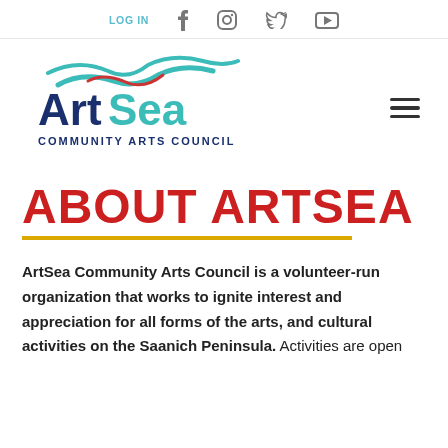LOG IN  [facebook] [instagram] [twitter] [youtube]
[Figure (logo): ArtSea Community Arts Council logo with teal and red wave design above the text 'ArtSea' in navy and teal, and 'COMMUNITY ARTS COUNCIL' in navy below]
ABOUT ARTSEA
ArtSea Community Arts Council is a volunteer-run organization that works to ignite interest and appreciation for all forms of the arts, and cultural activities on the Saanich Peninsula. Activities are open